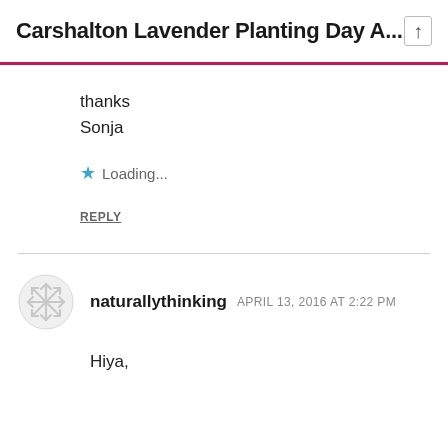Carshalton Lavender Planting Day A...
thanks
Sonja
Loading...
REPLY
naturallythinking  APRIL 13, 2016 AT 2:22 PM
Hiya,